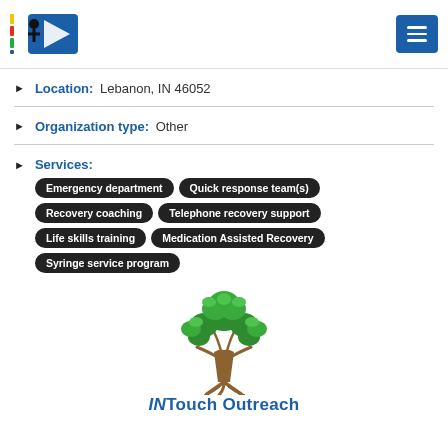Indiana Recovery Network logo and menu button
Location: Lebanon, IN 46052
Organization type: Other
Services: Emergency department, Quick response team(s), Recovery coaching, Telephone recovery support, Life skills training, Medication Assisted Recovery, Syringe service program
[Figure (logo): INTouch Outreach tree logo — a green-leafed tree with brown trunk and roots]
INTouch Outreach